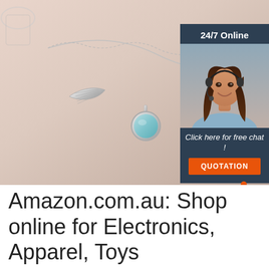[Figure (photo): Product photo of a silver mermaid tail charm necklace with a light blue gemstone pendant, on a pinkish-beige surface. Overlaid with a customer service ad box showing a smiling woman with headset, text '24/7 Online', 'Click here for free chat!', and an orange 'QUOTATION' button.]
Amazon.com.au: Shop online for Electronics, Apparel, Toys